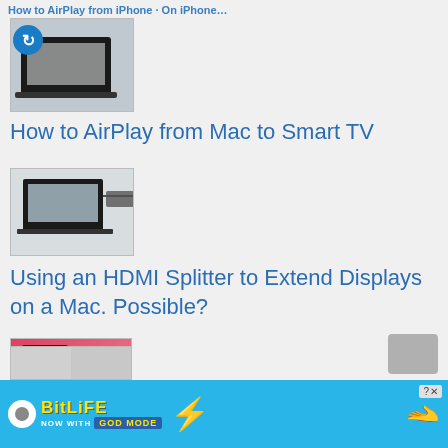How to AirPlay from iPhone (truncated/cut off at top)
[Figure (photo): Thumbnail image of a laptop computer with a circular blue arrow icon overlay]
How to AirPlay from Mac to Smart TV
[Figure (photo): Thumbnail image of a Mac laptop connected to an HDMI device/ethernet]
Using an HDMI Splitter to Extend Displays on a Mac. Possible?
[Figure (photo): Thumbnail image of an iPhone with a pink/red 5G graphic background]
Does 5G Drain iPhone Battery Faster?
[Figure (photo): Partially visible thumbnail image at bottom]
[Figure (screenshot): Advertisement banner for BitLife game with 'NOW WITH GOD MODE' text, lightning bolt graphic, and pointing hand illustration on blue background]